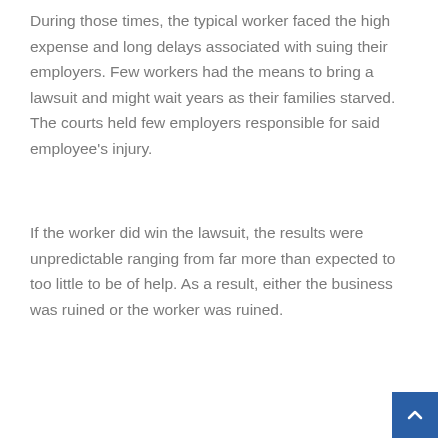During those times, the typical worker faced the high expense and long delays associated with suing their employers. Few workers had the means to bring a lawsuit and might wait years as their families starved. The courts held few employers responsible for said employee's injury.
If the worker did win the lawsuit, the results were unpredictable ranging from far more than expected to too little to be of help. As a result, either the business was ruined or the worker was ruined.